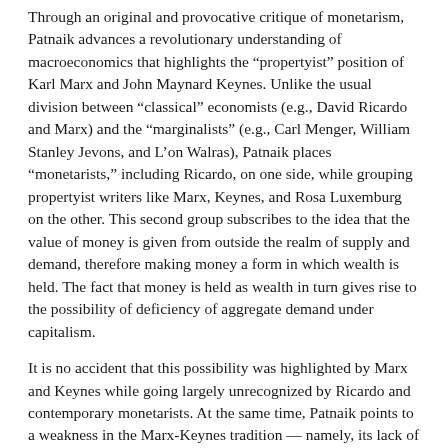Through an original and provocative critique of monetarism, Patnaik advances a revolutionary understanding of macroeconomics that highlights the “propertyist” position of Karl Marx and John Maynard Keynes. Unlike the usual division between “classical” economists (e.g., David Ricardo and Marx) and the “marginalists” (e.g., Carl Menger, William Stanley Jevons, and L’on Walras), Patnaik places “monetarists,” including Ricardo, on one side, while grouping propertyist writers like Marx, Keynes, and Rosa Luxemburg on the other. This second group subscribes to the idea that the value of money is given from outside the realm of supply and demand, therefore making money a form in which wealth is held. The fact that money is held as wealth in turn gives rise to the possibility of deficiency of aggregate demand under capitalism.
It is no accident that this possibility was highlighted by Marx and Keynes while going largely unrecognized by Ricardo and contemporary monetarists. At the same time, Patnaik points to a weakness in the Marx-Keynes tradition — namely, its lack of any satisfactory explanation of why the value of money, determined from outside the realm of supply and demand, remains relatively stable over long stretches of time. The answer to this question lies in the fact that capitalism is not a self-contained system but is born from a precapitalist setting with which it interacts and where it creates massive labor reserves that, in turn, impart stability to the value of money. But this theory of money then also throws further